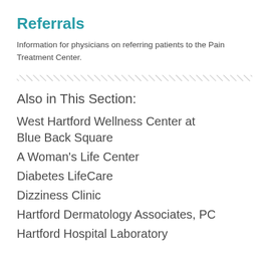Referrals
Information for physicians on referring patients to the Pain Treatment Center.
Also in This Section:
West Hartford Wellness Center at Blue Back Square
A Woman's Life Center
Diabetes LifeCare
Dizziness Clinic
Hartford Dermatology Associates, PC
Hartford Hospital Laboratory